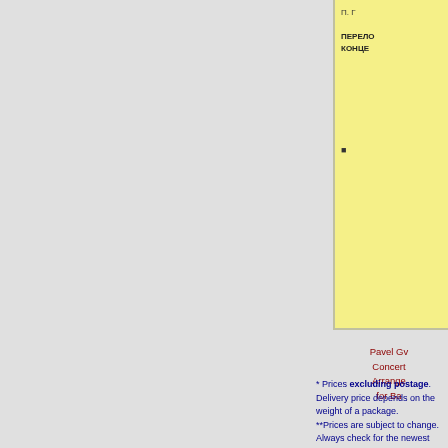[Figure (illustration): Partial view of a yellow book cover with Cyrillic text and a page number, partially cropped at right edge of page. Text visible includes 'П. Г' at top, then 'ПЕРЕЛО' and 'КОНЦЕ'.]
Pavel Gv...
Concert ...
Arrange...
for Ba...
* Prices excluding postage. Delivery price depends on the weight of a package.
**Prices are subject to change. Always check for the newest information on this website.
[Figure (screenshot): Search icon/button: a rectangular box with a grey magnifier icon on a lighter grey/white background, bordered with teal/blue outline.]